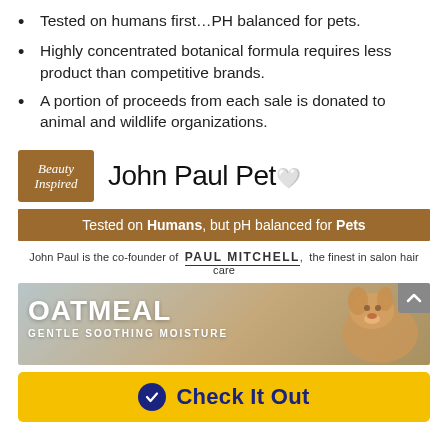Tested on humans first…PH balanced for pets.
Highly concentrated botanical formula requires less product than competitive brands.
A portion of proceeds from each sale is donated to animal and wildlife organizations.
[Figure (logo): Beauty Inspired badge logo alongside John Paul Pet brand logo]
[Figure (infographic): Brown banner: Tested on Humans, but pH balanced for Pets]
John Paul is the co-founder of PAUL MITCHELL, the finest in salon hair care
[Figure (photo): Oatmeal Gentle Soothing Moisture product banner with golden retriever dog]
[Figure (other): Check It Out yellow button with blue circle checkmark]